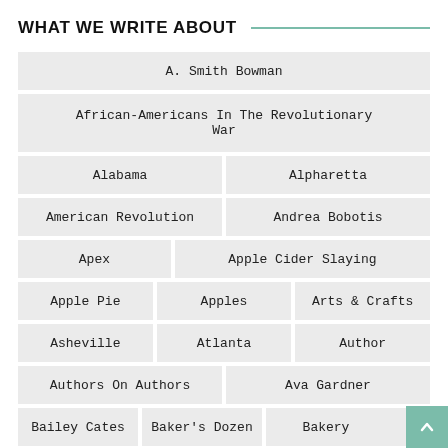WHAT WE WRITE ABOUT
A. Smith Bowman
African-Americans In The Revolutionary War
Alabama
Alpharetta
American Revolution
Andrea Bobotis
Apex
Apple Cider Slaying
Apple Pie
Apples
Arts & Crafts
Asheville
Atlanta
Author
Authors On Authors
Ava Gardner
Bailey Cates
Baker's Dozen
Bakery
Baking
Banana Pudding
Bars